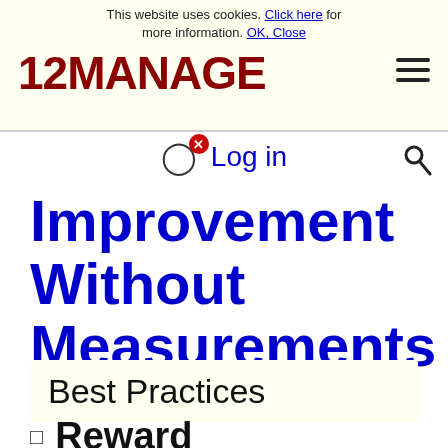This website uses cookies. Click here for more information. OK, Close
[Figure (logo): 12MANAGE logo in dark red bold text]
Log in
Improvement Without Measurements
Best Practices
Reward